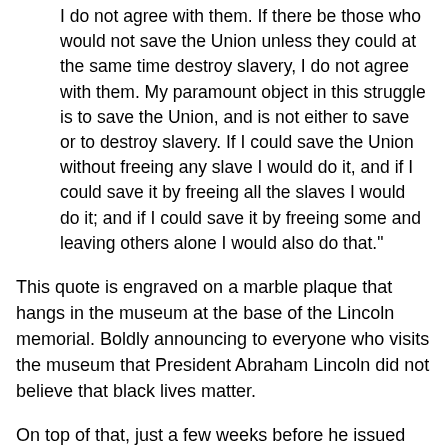I do not agree with them. If there be those who would not save the Union unless they could at the same time destroy slavery, I do not agree with them. My paramount object in this struggle is to save the Union, and is not either to save or to destroy slavery. If I could save the Union without freeing any slave I would do it, and if I could save it by freeing all the slaves I would do it; and if I could save it by freeing some and leaving others alone I would also do that."
This quote is engraved on a marble plaque that hangs in the museum at the base of the Lincoln memorial. Boldly announcing to everyone who visits the museum that President Abraham Lincoln did not believe that black lives matter.
On top of that, just a few weeks before he issued the Emancipation Proclamation, President Lincoln ordered the largest mass execution in the history of the United States.
In the fall of 1862, after the United States failed to meet its